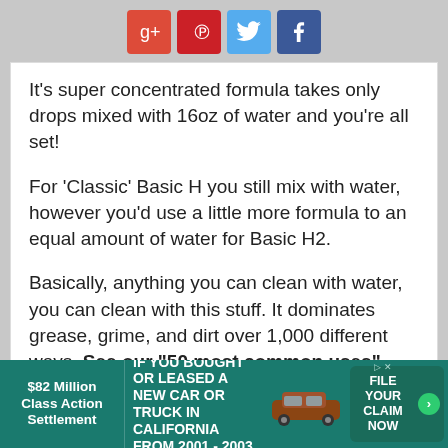[Figure (other): Social media share icons: Google+, Pinterest, Twitter, Facebook]
It's super concentrated formula takes only drops mixed with 16oz of water and you're all set!
For 'Classic' Basic H you still mix with water, however you'd use a little more formula to an equal amount of water for Basic H2.
Basically, anything you can clean with water, you can clean with this stuff. It dominates grease, grime, and dirt over 1,000 different ways. See our "50 most common uses" below.
Just buy 16oz bottles from the dollar store and ...
[Figure (other): Advertisement banner: $82 Million Class Action Settlement - IF YOU BOUGHT OR LEASED A NEW CAR OR TRUCK IN CALIFORNIA FROM 2001 - 2003 - FILE YOUR CLAIM NOW]